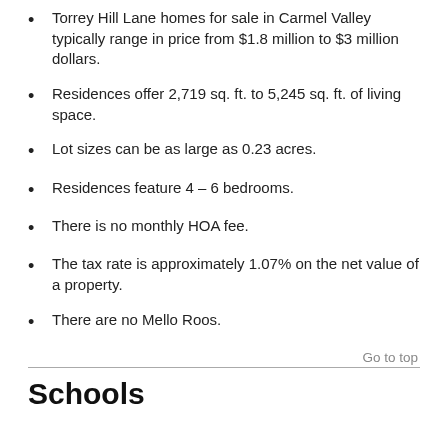Torrey Hill Lane homes for sale in Carmel Valley typically range in price from $1.8 million to $3 million dollars.
Residences offer 2,719 sq. ft. to 5,245 sq. ft. of living space.
Lot sizes can be as large as 0.23 acres.
Residences feature 4 – 6 bedrooms.
There is no monthly HOA fee.
The tax rate is approximately 1.07% on the net value of a property.
There are no Mello Roos.
Go to top
Schools